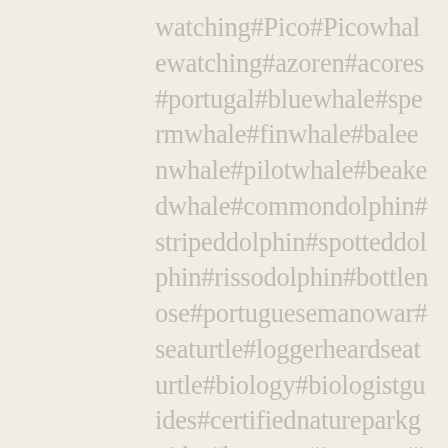watching#Pico#Picowhalewatching#azoren#acores#portugal#bluewhale#spermwhale#finwhale#baleenwhale#pilotwhale#beakedwhale#commondolphin#stripeddolphin#spotteddolphin#rissodolphin#bottlenose#portuguesemanowar#seaturtle#loggerheadseaturtle#biology#biologistguides#certifiednatureparkguides#besttour#jeeptour#islandtour#vantour#exclusivetours#privatetour#boattour#marine#wildlife#photography#conservation#scienceandtourism#conservationtour#whaleconservationazores#baleias#baleiasfaial#baleiaspico#baleiasacores#conservacao#turismoresponsavel#responsibletourism#responsiblewhalewatching#saveourplanet#ocean